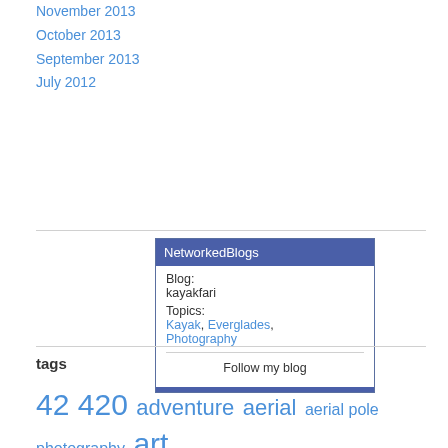November 2013
October 2013
September 2013
July 2012
[Figure (other): NetworkedBlogs widget showing Blog: kayakfari, Topics: Kayak, Everglades, Photography, Follow my blog button]
tags
42 420 adventure aerial aerial pole photography art